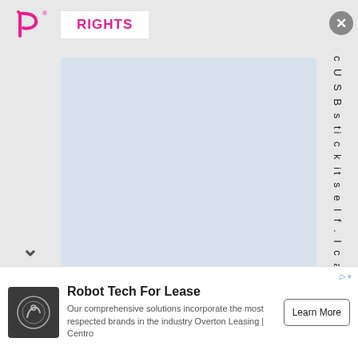RIGHTS
[Figure (screenshot): A document viewer interface showing a partially visible page with vertically rendered text reading 'USBstick itself . I can't s' on the right side, a blank blue-grey document area, and a chevron/down arrow on the lower left.]
Robot Tech For Lease
Our comprehensive solutions incorporate the most respected brands in the industry Overton Leasing | Centro
Learn More